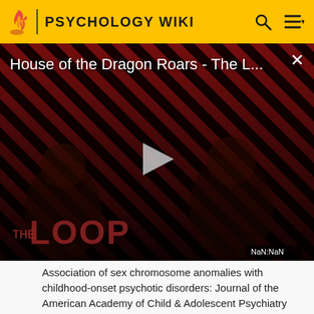PSYCHOLOGY WIKI
[Figure (screenshot): Video thumbnail for 'House of the Dragon Roars - The L...' with play button, diagonal red/black stripe background, dark silhouettes, THE LOOP watermark, and NaN:NaN time display]
Association of sex chromosome anomalies with childhood-onset psychotic disorders: Journal of the American Academy of Child & Adolescent Psychiatry Vol 37(3) Mar 1998, 292-296.
Lay, B., Blanz, B., Hartmann, M., & Schmidt, M. H. (2000). The psychosocial outcome of adolescent-